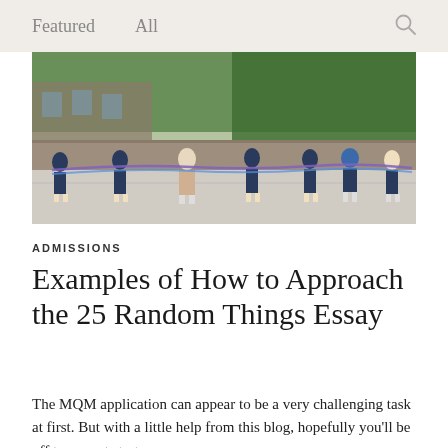Featured   All
[Figure (photo): Group of students outdoors holding a long rope or band, wearing masks, with a stone building and trees in the background.]
ADMISSIONS
Examples of How to Approach the 25 Random Things Essay
The MQM application can appear to be a very challenging task at first. But with a little help from this blog, hopefully you'll be off to a great start.